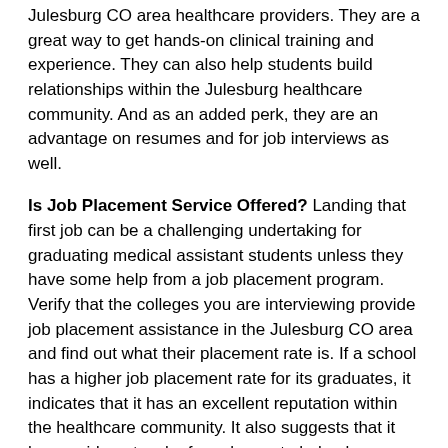Julesburg CO area healthcare providers. They are a great way to get hands-on clinical training and experience. They can also help students build relationships within the Julesburg healthcare community. And as an added perk, they are an advantage on resumes and for job interviews as well.
Is Job Placement Service Offered? Landing that first job can be a challenging undertaking for graduating medical assistant students unless they have some help from a job placement program. Verify that the colleges you are interviewing provide job placement assistance in the Julesburg CO area and find out what their placement rate is. If a school has a higher job placement rate for its graduates, it indicates that it has an excellent reputation within the healthcare community. It also suggests that it has a wide network of employers to help place students in jobs.